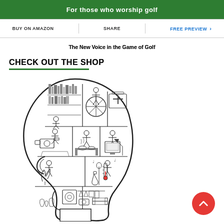[Figure (other): Green banner with white bold text partially visible at top, reading 'For those who worship golf']
BUY ON AMAZON   |   SHARE   |   FREE PREVIEW >
The New Voice in the Game of Golf
CHECK OUT the SHOP
[Figure (illustration): Black and white detailed illustration of a human head silhouette divided into compartments, each containing different figures and objects representing various activities and professions: person at helm, bookshelves, medical kit, cameraman, cook/chef, person at computer, gardener, musician, scientist with thermometer, laundry/clothing, camera equipment, and more.]
[Figure (other): Red circular back-to-top button with white upward chevron arrow in bottom right corner]